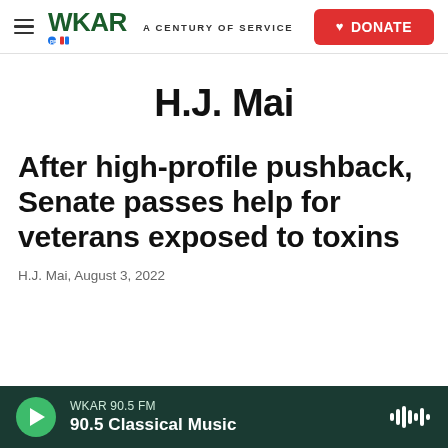WKAR A CENTURY OF SERVICE | DONATE
H.J. Mai
After high-profile pushback, Senate passes help for veterans exposed to toxins
H.J. Mai,  August 3, 2022
WKAR 90.5 FM | 90.5 Classical Music